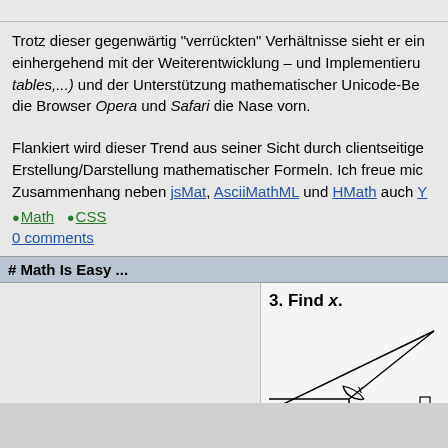Trotz dieser gegenwärtig "verrückten" Verhältnisse sieht er ein einhergehend mit der Weiterentwicklung – und Implementieru tables,...) und der Unterstützung mathematischer Unicode-Be die Browser Opera und Safari die Nase vorn.
Flankiert wird dieser Trend aus seiner Sicht durch clientseitige Erstellung/Darstellung mathematischer Formeln. Ich freue mic Zusammenhang neben jsMat, AsciiMathML und HMath auch
Math
CSS
0 comments
# Math Is Easy ...
[Figure (illustration): A math problem image showing '3. Find x.' with a geometric diagram featuring an angle labeled x at the intersection of two lines, with a right angle marker.]